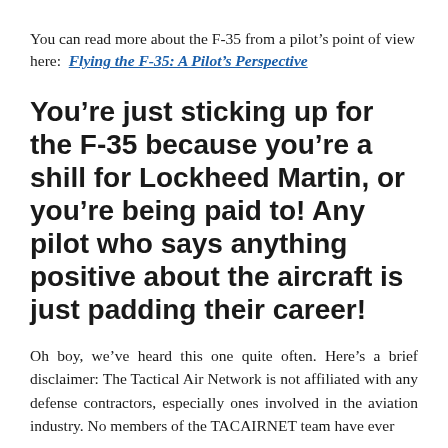You can read more about the F-35 from a pilot's point of view here:  Flying the F-35: A Pilot's Perspective
You're just sticking up for the F-35 because you're a shill for Lockheed Martin, or you're being paid to! Any pilot who says anything positive about the aircraft is just padding their career!
Oh boy, we've heard this one quite often. Here's a brief disclaimer: The Tactical Air Network is not affiliated with any defense contractors, especially ones involved in the aviation industry. No members of the TACAIRNET team have ever